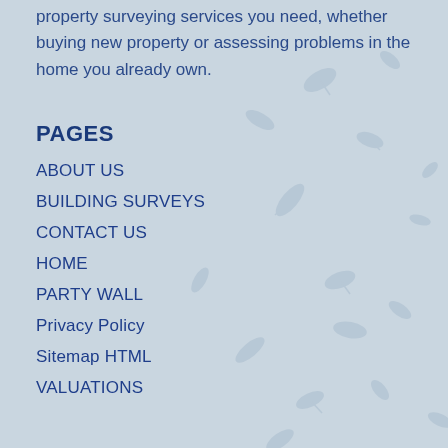property surveying services you need, whether buying new property or assessing problems in the home you already own.
PAGES
ABOUT US
BUILDING SURVEYS
CONTACT US
HOME
PARTY WALL
Privacy Policy
Sitemap HTML
VALUATIONS